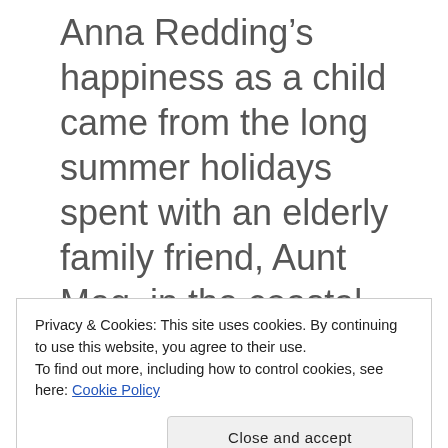Anna Redding’s happiness as a child came from the long summer holidays spent with an elderly family friend, Aunt Meg, in the coastal village of Polkerran.
With Aunt Meg’s passing, Anna
Privacy & Cookies: This site uses cookies. By continuing to use this website, you agree to their use.
To find out more, including how to control cookies, see here: Cookie Policy
Close and accept